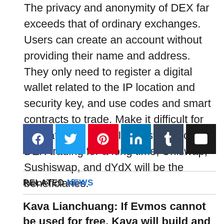The privacy and anonymity of DEX far exceeds that of ordinary exchanges. Users can create an account without providing their name and address. They only need to register a digital wallet related to the IP location and security key, and use codes and smart contracts to trade. Make it difficult for regulators to track. If investors move to DEX trading for a long time, Uniswap, Sushiswap, and dYdX will be the beneficiaries.
[Figure (infographic): Social media sharing buttons: Facebook, Twitter, Pinterest, LinkedIn, Tumblr, Email]
RELATED NEWS
Kava Lianchuang: If Evmos cannot be used for free, Kava will build and maintain a free EVM-compatible